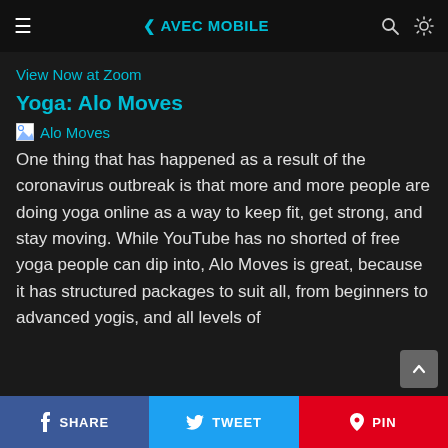☰  ❮ AVEC MOBILE  🔍  ☀
View Now at Zoom
Yoga: Alo Moves
[Figure (photo): Broken image placeholder labeled 'Alo Moves']
One thing that has happened as a result of the coronavirus outbreak is that more and more people are doing yoga online as a way to keep fit, get strong, and stay moving. While YouTube has no shorted of free yoga people can dip into, Alo Moves is great, because it has structured packages to suit all, from beginners to advanced yogis, and all levels of
SHARE   TWEET   PIN